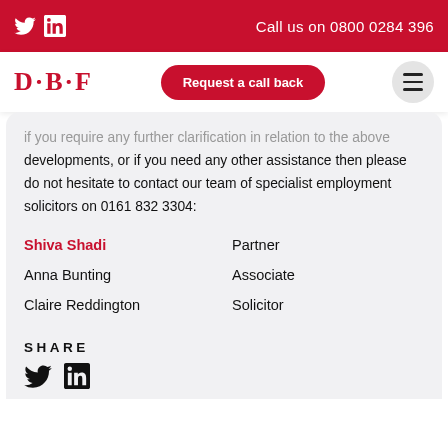Call us on 0800 0284 396
[Figure (logo): D·B·F law firm logo with Twitter and LinkedIn icons and Request a call back button]
if you require any further clarification in relation to the above developments, or if you need any other assistance then please do not hesitate to contact our team of specialist employment solicitors on 0161 832 3304:
| Name | Role |
| --- | --- |
| Shiva Shadi | Partner |
| Anna Bunting | Associate |
| Claire Reddington | Solicitor |
SHARE
[Figure (illustration): Twitter and LinkedIn social share icons]